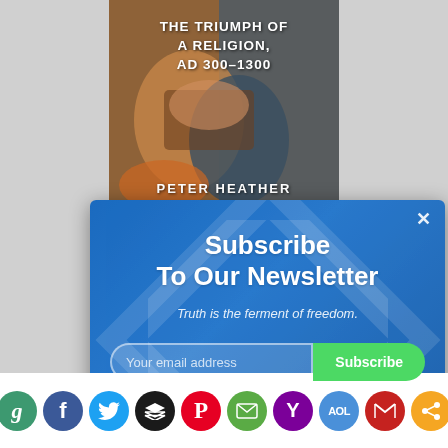[Figure (illustration): Book cover: 'The Triumph of a Religion, AD 300-1300' by Peter Heather, showing hands holding a book with a dark historical painting background]
[Figure (screenshot): Newsletter subscription popup on a blue gradient background with a diamond watermark. Contains heading 'Subscribe To Our Newsletter', italic subtext 'Truth is the ferment of freedom.', an email input field, and a green Subscribe button. A close (x) button is in the top-right corner.]
[Figure (infographic): Social sharing bar with 10 circular icon buttons: G (green), F (Facebook dark blue), Twitter bird (light blue), stacked layers (black), Pinterest P (red), envelope (green), Yahoo Y (purple), AOL (blue), Gmail M (red), share icon (orange)]